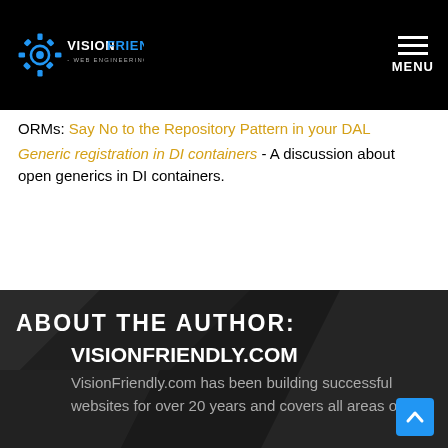VisionFriendly.com - Web Engineering - MENU
ORMs: Say No to the Repository Pattern in your DAL
Generic registration in DI containers - A discussion about open generics in DI containers.
ABOUT THE AUTHOR:
VISIONFRIENDLY.COM
VisionFriendly.com has been building successful websites for over 20 years and covers all areas of